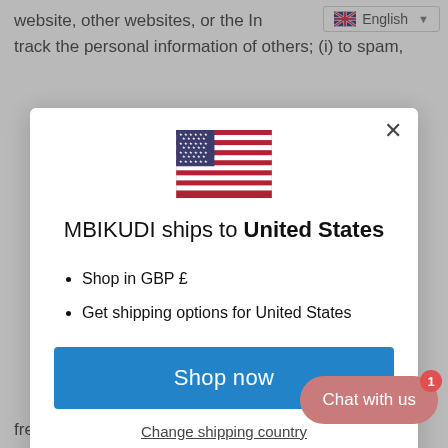website, other websites, or the In... track the personal information of others; (i) to spam,
[Figure (screenshot): Modal dialog showing MBIKUDI ships to United States with US flag, shop in GBP, get shipping options, Shop now button, and Change shipping country link]
MBIKUDI ships to United States
Shop in GBP £
Get shipping options for United States
Shop now
Change shipping country
free.